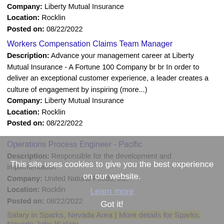Company: Liberty Mutual Insurance
Location: Rocklin
Posted on: 08/22/2022
Workers Compensation Claims Team Manager
Description: Advance your management career at Liberty Mutual Insurance - A Fortune 100 Company br br In order to deliver an exceptional customer experience, a leader creates a culture of engagement by inspiring (more...)
Company: Liberty Mutual Insurance
Location: Rocklin
Posted on: 08/22/2022
Operations Process Engineer - Pacific
Description: Responsible for the development and implementation
Company: United Natural Foods, Inc.
Location: Rocklin
Posted on: 08/22/2022
Salary in Sparks, Nevada Area | More details for Sparks, Nevada Jobs |Salary
Outside Sales Representative
Description: New Building - Future Leaders Homewood Lumber a